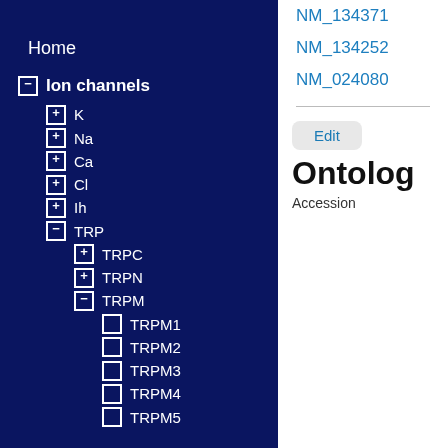Home
⊟ Ion channels
⊞ K
⊞ Na
⊞ Ca
⊞ Cl
⊞ Ih
⊟ TRP
⊞ TRPC
⊞ TRPN
⊟ TRPM
□ TRPM1
□ TRPM2
□ TRPM3
□ TRPM4
□ TRPM5
NM_134371
NM_134252
NM_024080
Edit
Ontology
Accession